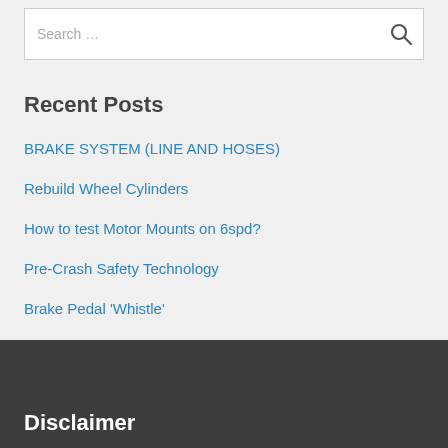Search …
Recent Posts
BRAKE SYSTEM (LINE AND HOSES)
Rebuild Wheel Cylinders
How to test Motor Mounts on 6spd?
Pre-Crash Safety Technology
Brake Pedal 'Whistle'
Disclaimer